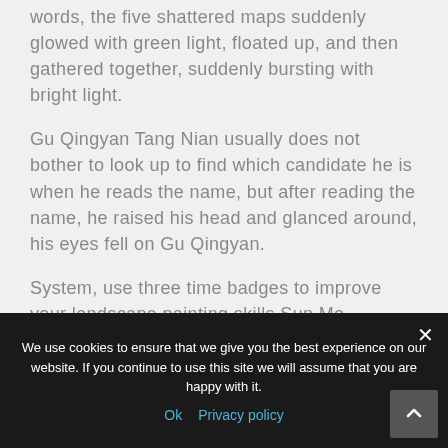words, the five shattered maps suddenly glowed with green light, floated up, and then gathered together, suddenly bursting with bright light.
Gu Qingyan Tang Nian usually does not bother to look up to find which candidate he is when he reads the name, but after reading the name, he raised his head and glanced around, his eyes fell on Gu Qingyan.
System, use three time badges to improve your landscape painting skills Sun Mo instructed. To be
We use cookies to ensure that we give you the best experience on our website. If you continue to use this site we will assume that you are happy with it.
Ok   Privacy policy